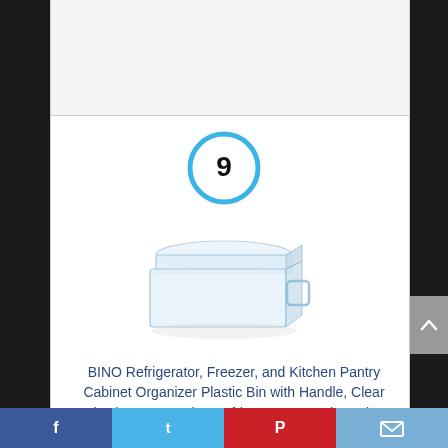[Figure (other): Number 9 inside a blue circle badge]
[Figure (photo): Clear plastic storage bin with handle and lid - BINO Refrigerator Organizer product photo on white background]
BINO Refrigerator, Freezer, and Kitchen Pantry Cabinet Organizer Plastic Bin with Handle, Clear Plastic Storage Bins Refrigerator Organizer Bins Fridge Organizer
[Figure (other): Social sharing bar with Facebook, Twitter, Pinterest, and Email buttons]